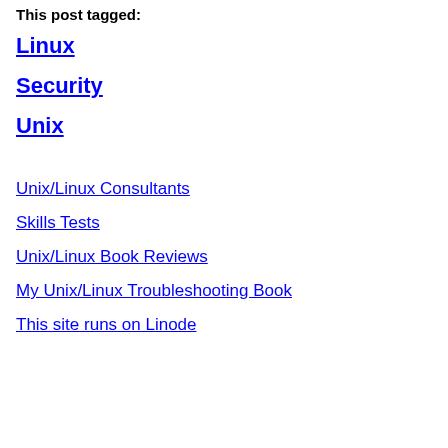This post tagged:
Linux
Security
Unix
Unix/Linux Consultants
Skills Tests
Unix/Linux Book Reviews
My Unix/Linux Troubleshooting Book
This site runs on Linode